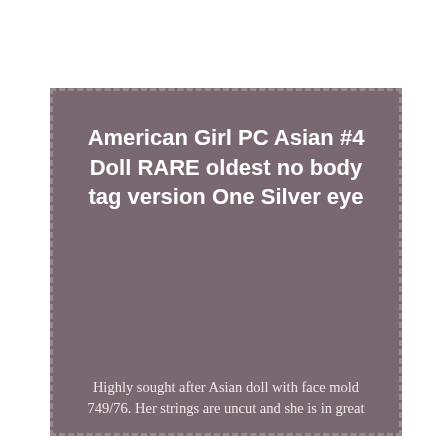[Figure (other): A mauve/dusty rose colored rectangular card with dashed border containing text about an American Girl doll listing.]
American Girl PC Asian #4 Doll RARE oldest no body tag version One Silver eye
Highly sought after Asian doll with face mold 749/76. Her strings are uncut and she is in great